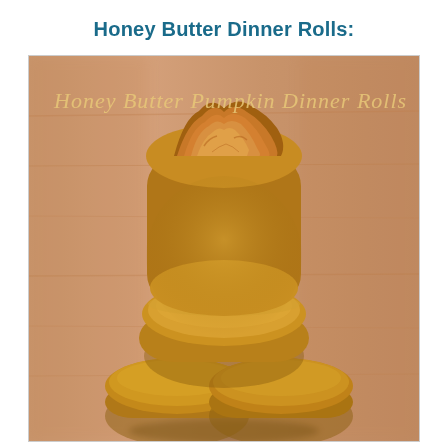Honey Butter Dinner Rolls:
[Figure (photo): Stack of golden-orange honey butter pumpkin dinner rolls, with the top roll torn open to show fluffy interior. Text overlay reads 'Honey Butter Pumpkin Dinner Rolls' in cursive script. Warm wooden background.]